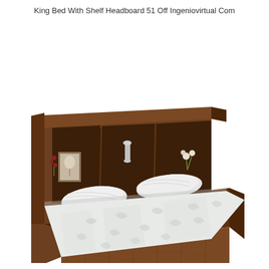King Bed With Shelf Headboard 51 Off Ingeniovirtual Com
[Figure (photo): A king-sized bed with a dark walnut wood bookcase/shelf headboard featuring open cubbies with decorative items. The bed has a patterned white/light grey bedding set with two pillows. The bed frame is a solid platform style in matching dark walnut wood finish, photographed at a three-quarter angle on a white background.]